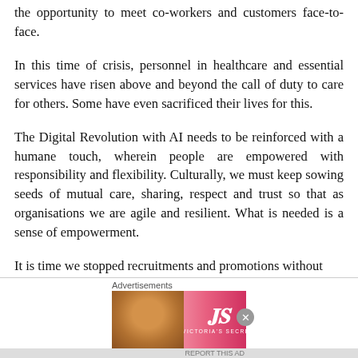the opportunity to meet co-workers and customers face-to-face.
In this time of crisis, personnel in healthcare and essential services have risen above and beyond the call of duty to care for others. Some have even sacrificed their lives for this.
The Digital Revolution with AI needs to be reinforced with a humane touch, wherein people are empowered with responsibility and flexibility. Culturally, we must keep sowing seeds of mutual care, sharing, respect and trust so that as organisations we are agile and resilient. What is needed is a sense of empowerment.
It is time we stopped recruitments and promotions without
[Figure (other): Victoria's Secret advertisement banner with a model photo on the left, VS logo in the center-left, 'SHOP THE COLLECTION' text in white on pink background, and a 'SHOP NOW' white button on the right.]